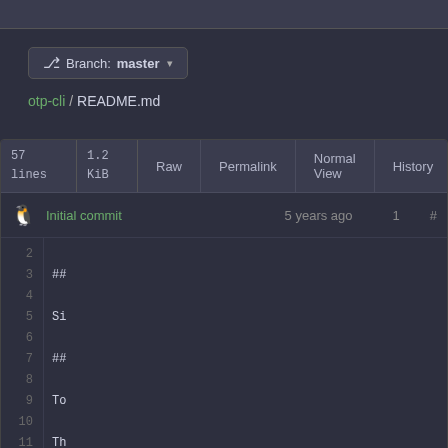Branch: master
otp-cli / README.md
| 57 lines | 1.2 KiB | Raw | Permalink | Normal View | History |
| --- | --- | --- | --- | --- | --- |
🐧 Initial commit   5 years ago
1  #
2  
3  ##
4  
5  Si
6  
7  ##
8  
9  To
10 
11 Th
12 
13 ##